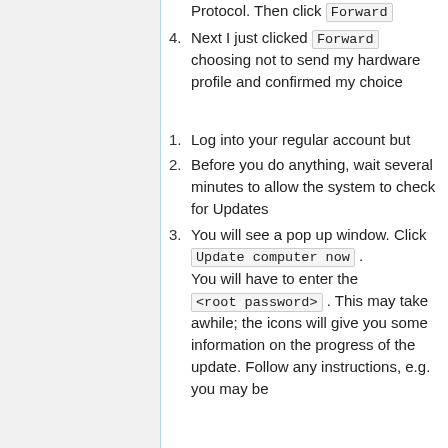Protocol. Then click Forward
4. Next I just clicked Forward choosing not to send my hardware profile and confirmed my choice
1. Log into your regular account but
2. Before you do anything, wait several minutes to allow the system to check for Updates
3. You will see a pop up window. Click Update computer now . You will have to enter the <root password> . This may take awhile; the icons will give you some information on the progress of the update. Follow any instructions, e.g. you may be